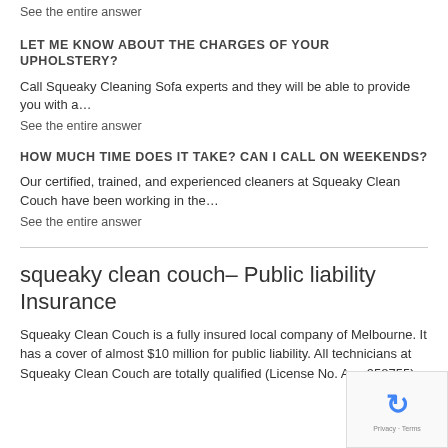See the entire answer
LET ME KNOW ABOUT THE CHARGES OF YOUR UPHOLSTERY?
Call Squeaky Cleaning Sofa experts and they will be able to provide you with a…
See the entire answer
HOW MUCH TIME DOES IT TAKE? CAN I CALL ON WEEKENDS?
Our certified, trained, and experienced cleaners at Squeaky Clean Couch have been working in the…
See the entire answer
squeaky clean couch– Public liability Insurance
Squeaky Clean Couch is a fully insured local company of Melbourne. It has a cover of almost $10 million for public liability. All technicians at Squeaky Clean Couch are totally qualified (License No. Aus 958755).